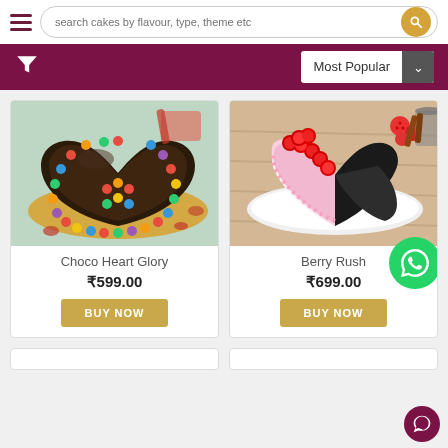search cakes by flavour, type, theme etc
Most Popular
[Figure (photo): Heart-shaped chocolate cake decorated with colorful M&M candies around the border on a round board]
Choco Heart Glory
₹599.00
BUY NOW
[Figure (photo): Heart-shaped strawberry and chocolate cake decorated with red cherries around the border on a white plate]
Berry Rush
₹699.00
BUY NOW